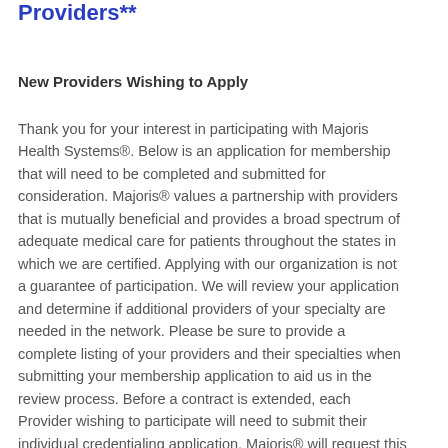Providers**
New Providers Wishing to Apply
Thank you for your interest in participating with Majoris Health Systems®. Below is an application for membership that will need to be completed and submitted for consideration. Majoris® values a partnership with providers that is mutually beneficial and provides a broad spectrum of adequate medical care for patients throughout the states in which we are certified. Applying with our organization is not a guarantee of participation. We will review your application and determine if additional providers of your specialty are needed in the network. Please be sure to provide a complete listing of your providers and their specialties when submitting your membership application to aid us in the review process. Before a contract is extended, each Provider wishing to participate will need to submit their individual credentialing application. Majoris® will request this credentialing once your